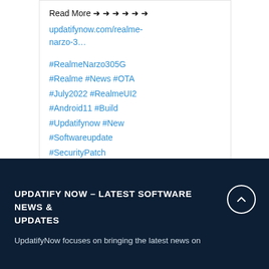Read More ➜ ➜ ➜ ➜ ➜ ➜
updatifynow.com/realme-narzo-3…
#RealmeNarzo305G #Realme #News #OTA #July2022 #RealmeUI2 #Android11 #Build #Updatifynow #New #Softwareupdate #SecurityPatch
UPDATIFY NOW – LATEST SOFTWARE NEWS & UPDATES
UpdatifyNow focuses on bringing the latest news on